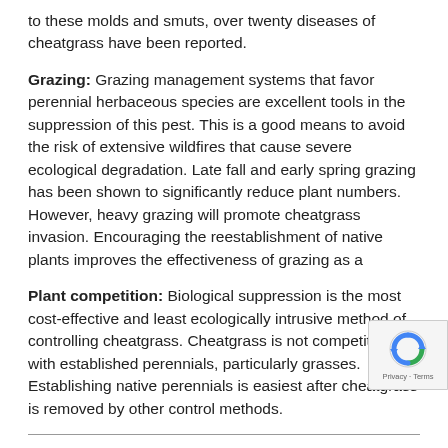to these molds and smuts, over twenty diseases of cheatgrass have been reported.
Grazing: Grazing management systems that favor perennial herbaceous species are excellent tools in the suppression of this pest. This is a good means to avoid the risk of extensive wildfires that cause severe ecological degradation. Late fall and early spring grazing has been shown to significantly reduce plant numbers. However, heavy grazing will promote cheatgrass invasion. Encouraging the reestablishment of native plants improves the effectiveness of grazing as a
Plant competition: Biological suppression is the most cost-effective and least ecologically intrusive method of controlling cheatgrass. Cheatgrass is not competitive with established perennials, particularly grasses. Establishing native perennials is easiest after cheatgrass is removed by other control methods.
Chemical control:
Several effective herbicide techniques used in the past are now available. The registration of the